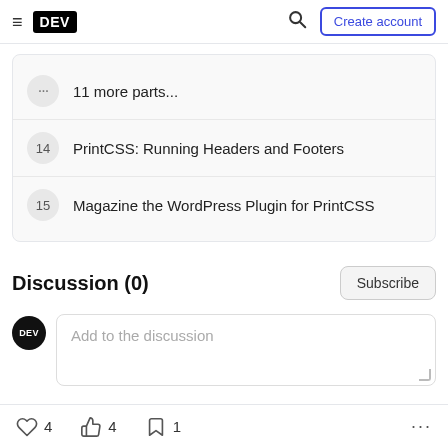DEV — Create account
... 11 more parts...
14  PrintCSS: Running Headers and Footers
15  Magazine the WordPress Plugin for PrintCSS
Discussion (0)
Add to the discussion
4  4  1  ...